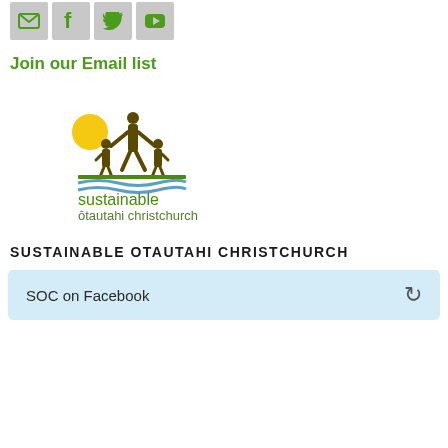[Figure (other): Row of four social media icon buttons (email, Facebook, Twitter, YouTube) with grey backgrounds]
Join our Email list
[Figure (logo): Sustainable Otautahi Christchurch logo — silhouette of adult and two children with yellow sun, green landscape lines, and organisation name in dark green lowercase text]
SUSTAINABLE OTAUTAHI CHRISTCHURCH
SOC on Facebook